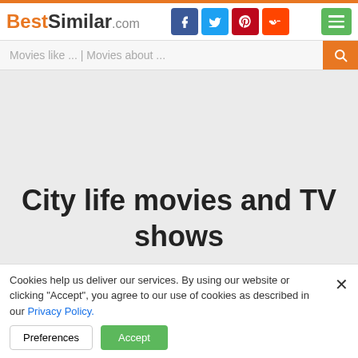BestSimilar.com
City life movies and TV shows
Cookies help us deliver our services. By using our website or clicking "Accept", you agree to our use of cookies as described in our Privacy Policy.
Preferences | Accept